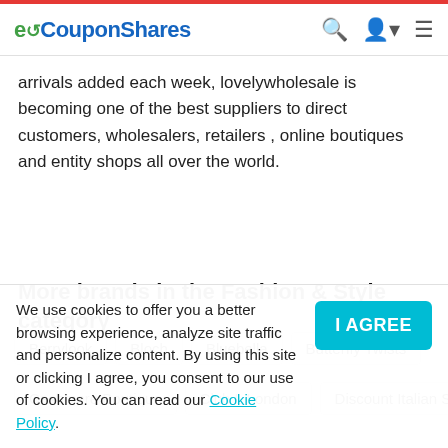eCouponShares
arrivals added each week, lovelywholesale is becoming one of the best suppliers to direct customers, wholesalers, retailers , online boutiques and entity shops all over the world.
More brands in the Fashion & Style category
Berrylook
Bloch
Bluebella
Butterfly Twists
Cashmere Boutique
Club L London
Discount Italian Shoes
We use cookies to offer you a better browsing experience, analyze site traffic and personalize content. By using this site or clicking I agree, you consent to our use of cookies. You can read our Cookie Policy.